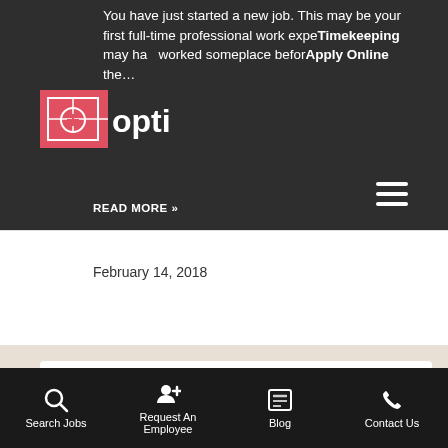[Figure (screenshot): Website header with dark background showing partial article text about starting a new job, Opti logo, navigation links Timekeeping and Apply Online, and hamburger menu icon]
READ MORE »
February 14, 2018
How to Refuse a Job Candidate
These days, it's become more of a buyer's market between companies and job seekers. Businesses are scrambling to find top talent and to keep th...
Search Jobs | Request An Employee | Blog | Contact Us